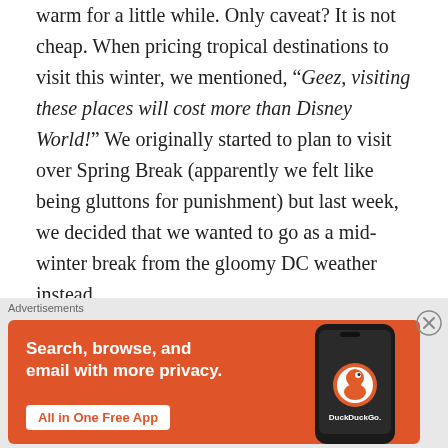warm for a little while. Only caveat? It is not cheap. When pricing tropical destinations to visit this winter, we mentioned, "Geez, visiting these places will cost more than Disney World!" We originally started to plan to visit over Spring Break (apparently we felt like being gluttons for punishment) but last week, we decided that we wanted to go as a mid-winter break from the gloomy DC weather instead.
We don't know where we're going next. We're anxiously waiting to find out where
Advertisements
[Figure (other): DuckDuckGo advertisement banner: orange background with text 'Search, browse, and email with more privacy.' and button 'All in One Free App', with a phone showing the DuckDuckGo app on the right.]